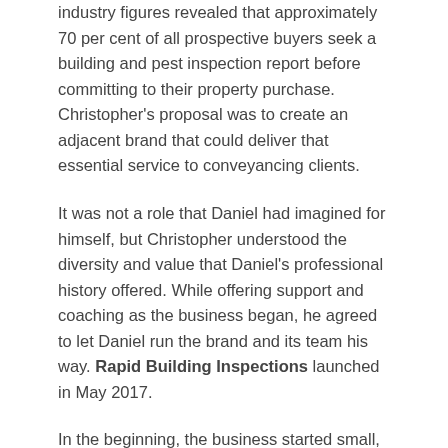industry figures revealed that approximately 70 per cent of all prospective buyers seek a building and pest inspection report before committing to their property purchase. Christopher's proposal was to create an adjacent brand that could deliver that essential service to conveyancing clients.
It was not a role that Daniel had imagined for himself, but Christopher understood the diversity and value that Daniel's professional history offered. While offering support and coaching as the business began, he agreed to let Daniel run the brand and its team his way. Rapid Building Inspections launched in May 2017.
In the beginning, the business started small, with the practical work, sales and admin handled by a small team of just three people. Daniel worked alongside just one other building inspector to service the Sunshine Coast region, with a dedicated salesperson based in the Philippines to handle leads and enquiries. Daniel recalls, “I still remember standing on a roof, labouring on a building project, answering my mobile to take those early calls. Then I’d grab my laptop and race off to the a